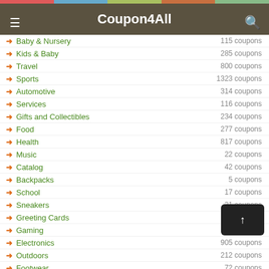Coupon4All
Baby & Nursery — 115 coupons
Kids & Baby — 285 coupons
Travel — 800 coupons
Sports — 1323 coupons
Automotive — 314 coupons
Services — 116 coupons
Gifts and Collectibles — 234 coupons
Food — 277 coupons
Health — 817 coupons
Music — 22 coupons
Catalog — 42 coupons
Backpacks — 5 coupons
School — 17 coupons
Sneakers — 21 coupons
Greeting Cards — 2 coupons
Gaming — 70 coupons
Electronics — 905 coupons
Outdoors — 212 coupons
Footwear — 72 coupons
Entertainment — 121 coupons
Canada — 122 coupons